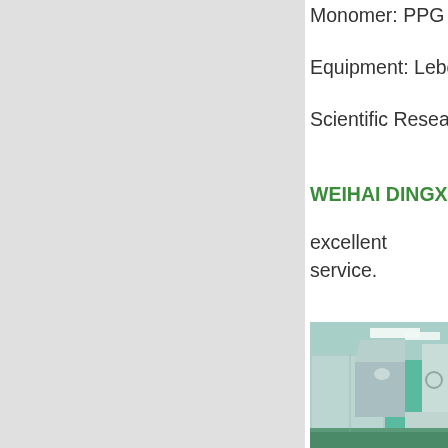Monomer: PPG industries; Mitsui; KOC; Tokuya...
Equipment: Lebold; Satisloh; SCL; Schneider; C...
Scientific Research: Sun Yat-sen University; So...
WEIHAI DINGXIN OPTICAL is the lens Compa... excellent service.
[Figure (photo): Interior photograph of an optical lens manufacturing facility showing stainless steel casting/processing machines in a clean room environment with green floors and fluorescent ceiling lights.]